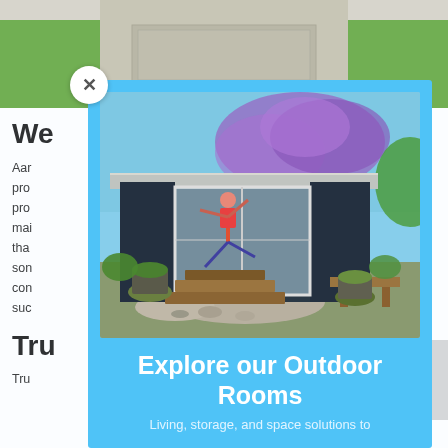[Figure (photo): Top photo strip showing a garden path with green lawn on either side and paving stones in the center]
We
Aaro
prod
prod
main
that
som
cont
such
Tru
Tru
[Figure (screenshot): Modal popup with light blue background showing an outdoor room/studio building with sliding glass doors, wooden steps, potted plants, and a person doing yoga inside. Below the photo is text 'Explore our Outdoor Rooms' and 'Living, storage, and space solutions to']